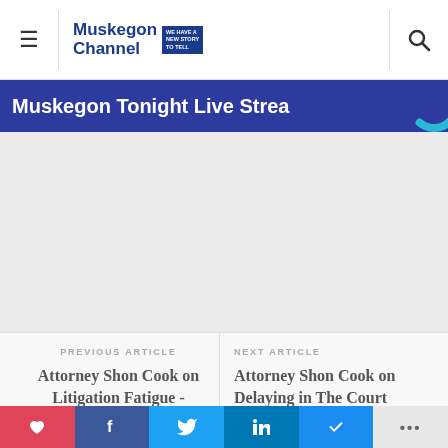Muskegon Channel
Muskegon Tonight Live Strea
[Figure (screenshot): Video player area with loading spinner circle in teal/cyan color on right side]
PREVIOUS ARTICLE
Attorney Shon Cook on Litigation Fatigue - Saturdays With Shon
NEXT ARTICLE
Attorney Shon Cook on Delaying in The Court System - Saturdays With Shon
[Figure (screenshot): Bottom image strip showing three thumbnail images: cooking/grilling utensils, a brown paper bag, and stacked towels/linens]
Social share bar: heart, Facebook, Twitter, LinkedIn, Messenger, more